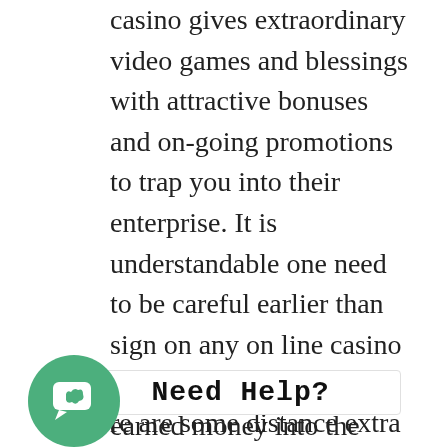casino gives extraordinary video games and blessings with attractive bonuses and on-going promotions to trap you into their enterprise. It is understandable one need to be careful earlier than sign on any on line casino and deposit your tough-earned money into the participant's account at the on line casino. But, how do you recognize if a web on line casino is proper for you? What are the matters to remember in figuring out a on line casino to sign up with? If you are confused which one to move for, under are the 4 guidelines to be able to genuinely provide you with some recommendations.
[Figure (other): Green circular chat bubble icon with a smiley/reply arrow symbol]
Need Help?
re are some distance extra rogue casinos (casinos that cheat money) at the net then the